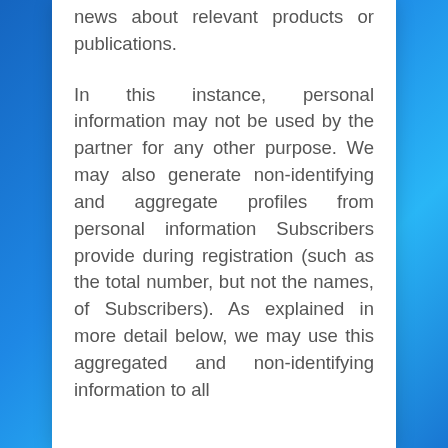news about relevant products or publications.
In this instance, personal information may not be used by the partner for any other purpose. We may also generate non-identifying and aggregate profiles from personal information Subscribers provide during registration (such as the total number, but not the names, of Subscribers). As explained in more detail below, we may use this aggregated and non-identifying information to all